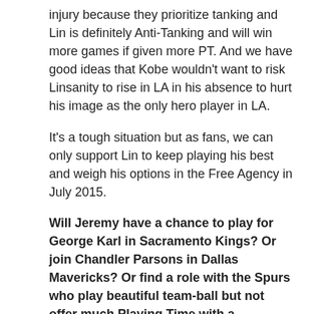injury because they prioritize tanking and Lin is definitely Anti-Tanking and will win more games if given more PT. And we have good ideas that Kobe wouldn't want to risk Linsanity to rise in LA in his absence to hurt his image as the only hero player in LA.
It's a tough situation but as fans, we can only support Lin to keep playing his best and weigh his options in the Free Agency in July 2015.
Will Jeremy have a chance to play for George Karl in Sacramento Kings? Or join Chandler Parsons in Dallas Mavericks? Or find a role with the Spurs who play beautiful team-ball but not offer much Playing Time with a multitude of PGs (Parker, Joseph, Mills)? I believe Lin will evaluate his options carefully and make the best decision in perhaps 1-2 year contract (2nd year player option) to see if his career can rise again after 3 years of playing with ball-dominant guards who took away his chance to be the main playmaker to fit his game.